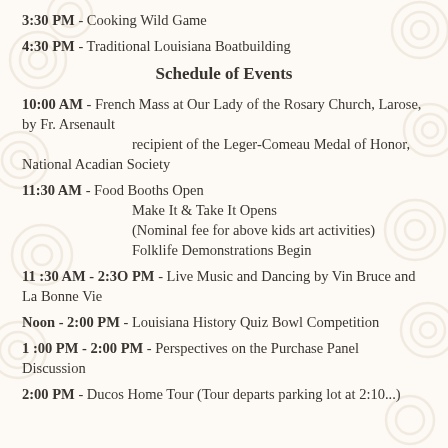3:30 PM - Cooking Wild Game
4:30 PM - Traditional Louisiana Boatbuilding
Schedule of Events
10:00 AM - French Mass at Our Lady of the Rosary Church, Larose, by Fr. Arsenault recipient of the Leger-Comeau Medal of Honor, National Acadian Society
11:30 AM - Food Booths Open Make It & Take It Opens (Nominal fee for above kids art activities) Folklife Demonstrations Begin
11 :30 AM - 2:3O PM - Live Music and Dancing by Vin Bruce and La Bonne Vie
Noon - 2:00 PM - Louisiana History Quiz Bowl Competition
1 :00 PM - 2:00 PM - Perspectives on the Purchase Panel Discussion
2:00 PM - Ducos Home Tour (Tour departs parking lot at 2:10...)